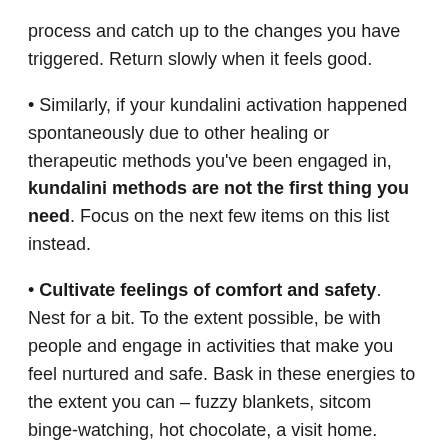process and catch up to the changes you have triggered. Return slowly when it feels good.
Similarly, if your kundalini activation happened spontaneously due to other healing or therapeutic methods you've been engaged in, kundalini methods are not the first thing you need. Focus on the next few items on this list instead.
Cultivate feelings of comfort and safety. Nest for a bit. To the extent possible, be with people and engage in activities that make you feel nurtured and safe. Bask in these energies to the extent you can – fuzzy blankets, sitcom binge-watching, hot chocolate, a visit home. What brings us comfort is very individua, so really think of this for yourself – what brings forth these feelings for YOU.